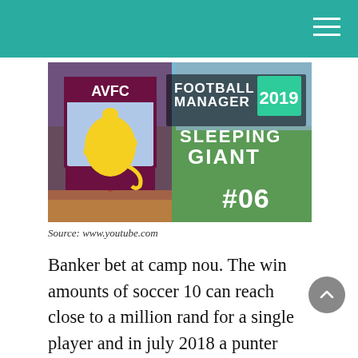[Figure (screenshot): YouTube thumbnail for 'AVFC Football Manager 2019 Sleeping Giant #06' showing Aston Villa crest and Football Manager 2019 branding over a stadium background]
Source: www.youtube.com
Banker bet at camp nou. The win amounts of soccer 10 can reach close to a million rand for a single player and in july 2018 a punter won an incredible r750 000, being the only bettor